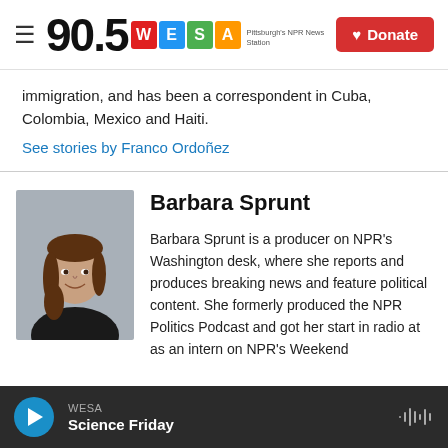90.5 WESA — Pittsburgh's NPR News Station | Donate
immigration, and has been a correspondent in Cuba, Colombia, Mexico and Haiti.
See stories by Franco Ordoñez
[Figure (photo): Headshot photo of Barbara Sprunt, a woman with brown hair wearing a black top, against a gray background]
Barbara Sprunt
Barbara Sprunt is a producer on NPR's Washington desk, where she reports and produces breaking news and feature political content. She formerly produced the NPR Politics Podcast and got her start in radio at as an intern on NPR's Weekend
WESA — Science Friday